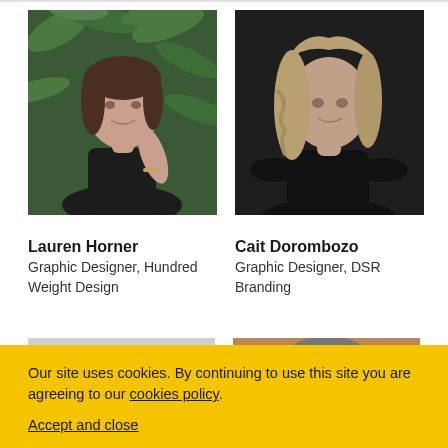[Figure (photo): Portrait photo of Lauren Horner, a woman with dark hair against a green leafy background, wearing a black top]
Lauren Horner
Graphic Designer, Hundred Weight Design
[Figure (photo): Portrait photo of Cait Dorombozo, a woman with wavy blonde hair against a dark background, wearing a black top]
Cait Dorombozo
Graphic Designer, DSR Branding
[Figure (photo): Partial thumbnail of another person, cropped at bottom]
[Figure (photo): Partial thumbnail of another person wearing a hat, cropped at bottom]
Our site uses cookies. By continuing to use this site you are agreeing to our cookies policy.

Accept and close